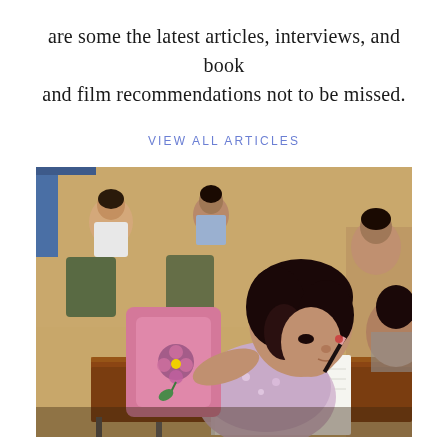are some the latest articles, interviews, and book and film recommendations not to be missed.
VIEW ALL ARTICLES
[Figure (photo): A young girl with dark hair leans over a school desk writing in a notebook with a pencil, wearing a floral top with a pink backpack. Other children are visible in the background in what appears to be a classroom setting with warm beige/yellow walls.]